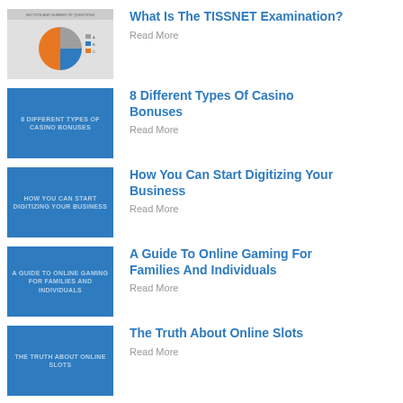[Figure (pie-chart): Thumbnail image showing a pie chart with gray, blue, and orange segments, labeled 'Section and Number of Questions']
What Is The TISSNET Examination?
Read More
[Figure (illustration): Blue thumbnail with text: 8 DIFFERENT TYPES OF CASINO BONUSES]
8 Different Types Of Casino Bonuses
Read More
[Figure (illustration): Blue thumbnail with text: HOW YOU CAN START DIGITIZING YOUR BUSINESS]
How You Can Start Digitizing Your Business
Read More
[Figure (illustration): Blue thumbnail with text: A GUIDE TO ONLINE GAMING FOR FAMILIES AND INDIVIDUALS]
A Guide To Online Gaming For Families And Individuals
Read More
[Figure (illustration): Blue thumbnail with text: THE TRUTH ABOUT ONLINE SLOTS]
The Truth About Online Slots
Read More